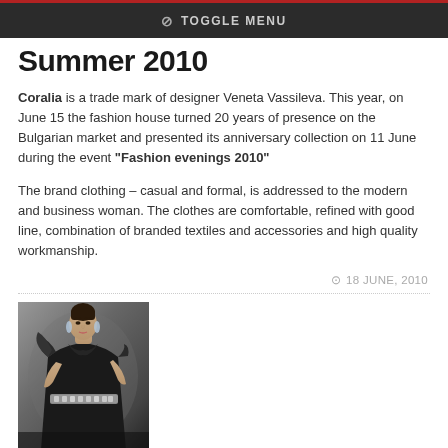TOGGLE MENU
Summer 2010
Coralia is a trade mark of designer Veneta Vassileva. This year, on June 15 the fashion house turned 20 years of presence on the Bulgarian market and presented its anniversary collection on 11 June during the event "Fashion evenings 2010"
The brand clothing – casual and formal, is addressed to the modern and business woman. The clothes are comfortable, refined with good line, combination of branded textiles and accessories and high quality workmanship.
18 JUNE, 2010
[Figure (photo): Fashion model wearing a black evening gown with ruffled shoulder detail and embellished belt, photographed against a grey background.]